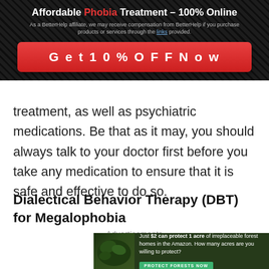[Figure (infographic): Advertisement banner with dark crosshatch background showing 'Affordable Phobia Treatment - 100% Online' with BetterHelp affiliate disclaimer and a red 'Get 10% OFF Now' CTA button]
treatment, as well as psychiatric medications. Be that as it may, you should always talk to your doctor first before you take any medication to ensure that it is safe and effective to do so.
Advertisements
Dialectical Behavior Therapy (DBT) for Megalophobia
[Figure (infographic): Advertisement banner for Amazon forest protection: 'Just $2 can protect 1 acre of irreplaceable forest homes in the Amazon. How many acres are you willing to protect?' with a green 'PROTECT FORESTS NOW' button]